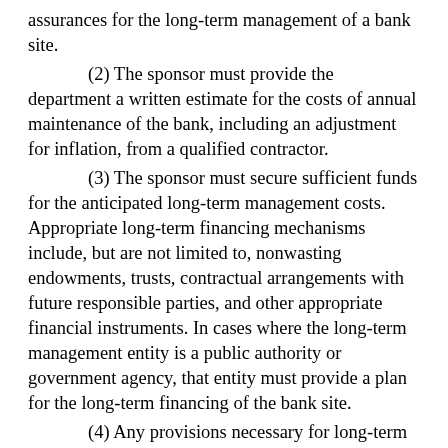assurances for the long-term management of a bank site.
(2) The sponsor must provide the department a written estimate for the costs of annual maintenance of the bank, including an adjustment for inflation, from a qualified contractor.
(3) The sponsor must secure sufficient funds for the anticipated long-term management costs. Appropriate long-term financing mechanisms include, but are not limited to, nonwasting endowments, trusts, contractual arrangements with future responsible parties, and other appropriate financial instruments. In cases where the long-term management entity is a public authority or government agency, that entity must provide a plan for the long-term financing of the bank site.
(4) Any provisions necessary for long-term financing must be addressed in the instrument.
(5) If the ownership of the site is transferred in the future, the financial mechanism for long-term management must remain with the entity responsible for the long-term management of the bank site.